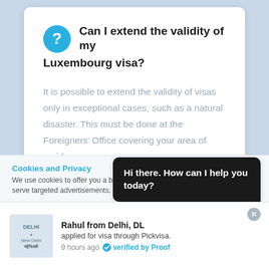Can I extend the validity of my Luxembourg visa?
It is possible to extend the validity of visas only in exceptional cases, such as a natural disaster. This must be done at the Foreigners' Office covering your area of residence.
Cookies and Privacy
We use cookies to offer you a b... serve targeted advertisements. By continuing to use this website, you
Hi there. How can I help you today?
Rahul from Delhi, DL
applied for visa through Pickvisa.
9 hours ago  verified by Proof